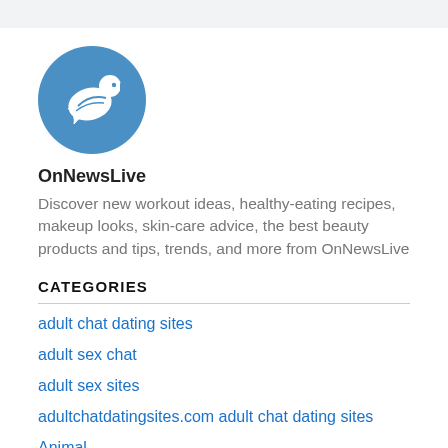[Figure (logo): Blue circular logo with a white bird/dove silhouette inside]
OnNewsLive
Discover new workout ideas, healthy-eating recipes, makeup looks, skin-care advice, the best beauty products and tips, trends, and more from OnNewsLive
CATEGORIES
adult chat dating sites
adult sex chat
adult sex sites
adultchatdatingsites.com adult chat dating sites
Animal
Are Mail Order Brides Legal